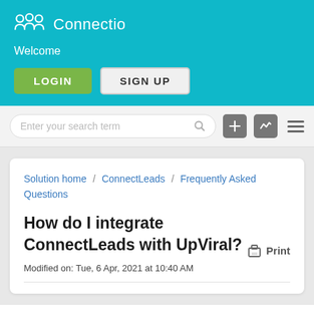Connectio — Welcome
[Figure (screenshot): Login and Sign Up buttons area within teal header]
Enter your search term
Solution home / ConnectLeads / Frequently Asked Questions
How do I integrate ConnectLeads with UpViral?
Modified on: Tue, 6 Apr, 2021 at 10:40 AM